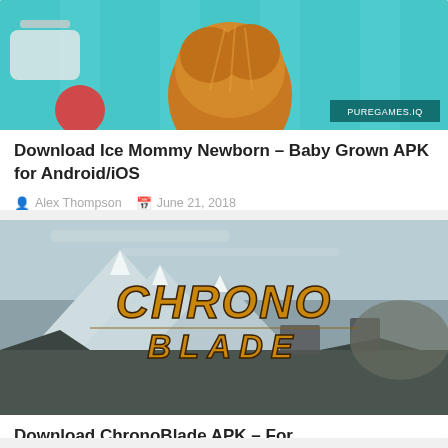[Figure (screenshot): Game screenshot for Ice Mommy Newborn - Baby Grown, showing a cartoon character with brown hair against a teal/turquoise striped background, with PUREGAMES.IO watermark]
Download Ice Mommy Newborn – Baby Grown APK for Android/iOS
Alex Thompson   June 21, 2018
[Figure (screenshot): Game screenshot for ChronoBlade APK, showing the CHRONO BLADE game logo in gold/brown metallic letters over a fantasy mountain landscape with battle scene]
Download ChronoBlade APK – For